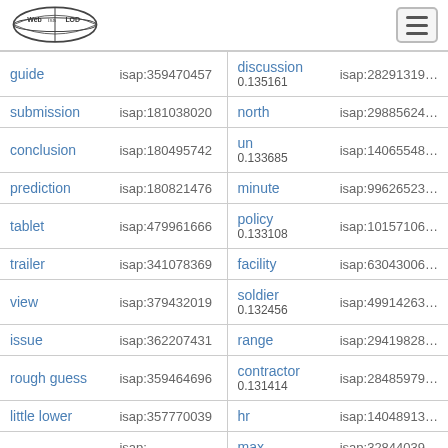Web isa LOD [logo] [menu button]
| Term | ISAP ID | Related Word / Score | ISAP ID 2 |
| --- | --- | --- | --- |
| guide | isap:359470457 | discussion 0.135161 | isap:282913... |
| submission | isap:181038020 | north | isap:298856... |
| conclusion | isap:180495742 | un 0.133685 | isap:140655... |
| prediction | isap:180821476 | minute | isap:996265... |
| tablet | isap:479961666 | policy 0.133108 | isap:101571... |
| trailer | isap:341078369 | facility | isap:630430... |
| view | isap:379432019 | soldier 0.132456 | isap:499142... |
| issue | isap:362207431 | range | isap:294198... |
| rough guess | isap:359464696 | contractor 0.131414 | isap:284859... |
| little lower | isap:357770039 | hr | isap:140489... |
| ... | isap:... | max ... | isap:328440... |